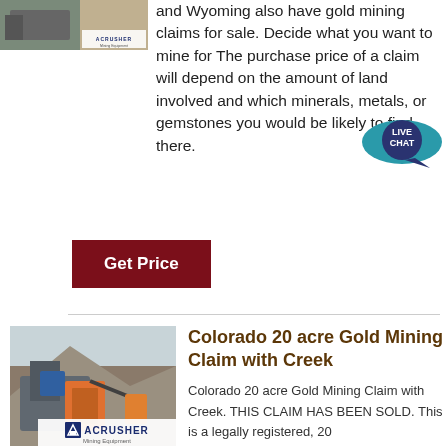[Figure (photo): Mining equipment photo thumbnail at top left with ACRUSHER Mining Equipment watermark]
and Wyoming also have gold mining claims for sale. Decide what you want to mine for The purchase price of a claim will depend on the amount of land involved and which minerals, metals, or gemstones you would be likely to find there.
[Figure (other): Live Chat speech bubble widget, teal/dark blue color, with text LIVE CHAT]
Get Price
[Figure (photo): Large photo of industrial mining/crushing equipment machinery in rocky mountainous setting with ACRUSHER Mining Equipment logo overlay]
Colorado 20 acre Gold Mining Claim with Creek
Colorado 20 acre Gold Mining Claim with Creek. THIS CLAIM HAS BEEN SOLD. This is a legally registered, 20